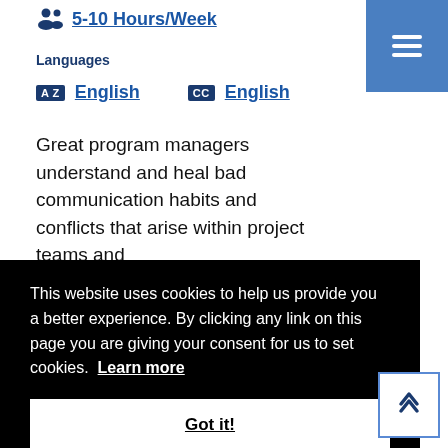5-10 Hours/Week
Languages
English  English
Great program managers understand and heal bad communication habits and conflicts that arise within project teams and
This website uses cookies to help us provide you a better experience. By clicking any link on this page you are giving your consent for us to set cookies.  Learn more
Got it!